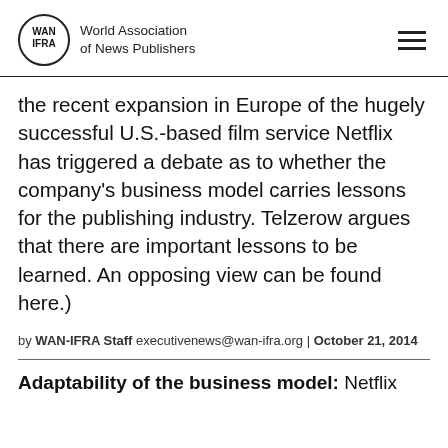World Association of News Publishers
the recent expansion in Europe of the hugely successful U.S.-based film service Netflix has triggered a debate as to whether the company's business model carries lessons for the publishing industry. Telzerow argues that there are important lessons to be learned. An opposing view can be found here.)
by WAN-IFRA Staff executivenews@wan-ifra.org | October 21, 2014
Adaptability of the business model: Netflix